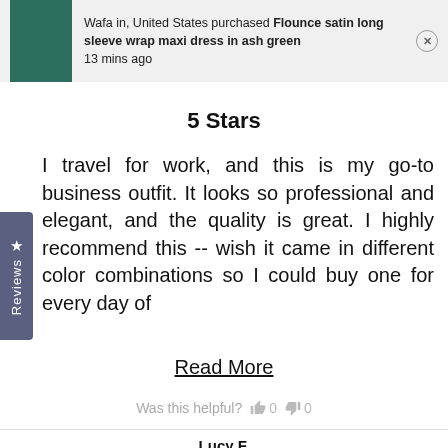Wafa in, United States purchased Flounce satin long sleeve wrap maxi dress in ash green
13 mins ago
5 Stars
I travel for work, and this is my go-to business outfit. It looks so professional and elegant, and the quality is great. I highly recommend this -- wish it came in different color combinations so I could buy one for every day of
Read More
Was this helpful? 0 0
Lucy F.
Verified Buyer
3 years ago